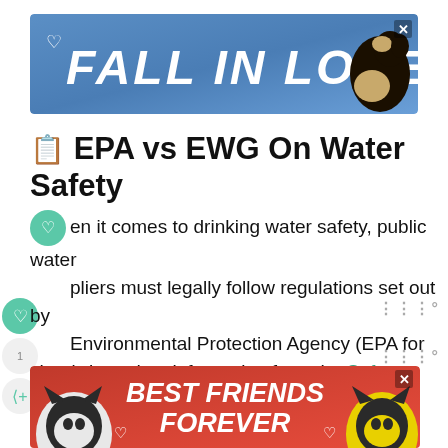[Figure (infographic): Top advertisement banner with blue gradient background, text 'FALL IN LOVE' in white bold italic font, small dog image on right, heart icon on left, close button top-right]
? EPA vs EWG On Water Safety
When it comes to drinking water safety, public water suppliers must legally follow regulations set out by Environmental Protection Agency (EPA for short), based on information from the Safe Drinking W...
[Figure (infographic): Bottom advertisement banner with red gradient background, text 'BEST FRIENDS FOREVER' in white bold italic font, two cat images on sides, hearts, close button top-right]